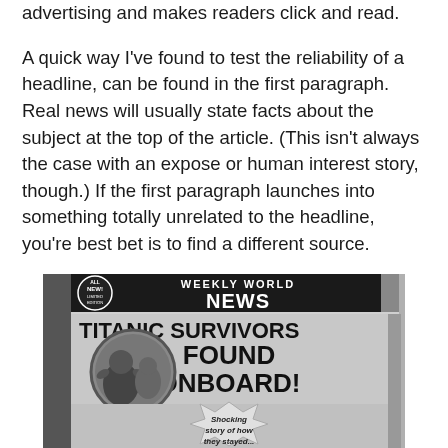advertising and makes readers click and read.
A quick way I've found to test the reliability of a headline, can be found in the first paragraph. Real news will usually state facts about the subject at the top of the article. (This isn't always the case with an expose or human interest story, though.) If the first paragraph launches into something totally unrelated to the headline, you're best bet is to find a different source.
[Figure (photo): A black and white photo of a Weekly World News tabloid newspaper. The cover headline reads 'TITANIC SURVIVORS FOUND ONBOARD!' with a circular porthole image showing people waving. A starburst at the bottom reads 'Shocking story of how they stayed...'. The banner at top reads 'ALL NEW! WEEKLY WORLD NEWS THE WORLD'S ONLY RELIABLE NEWSPAPER'.]